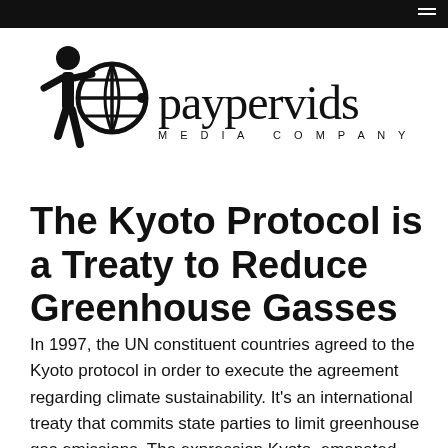[Figure (logo): Paypervids Media Company logo: stick figure with globe icon on the left, 'paypervids' in script font and 'MEDIA COMPANY' in spaced caps on the right]
The Kyoto Protocol is a Treaty to Reduce Greenhouse Gasses
In 1997, the UN constituent countries agreed to the Kyoto protocol in order to execute the agreement regarding climate sustainability. It's an international treaty that commits state parties to limit greenhouse gas emissions. The expression Kyoto, emanated from the signage location, which tendered the measures